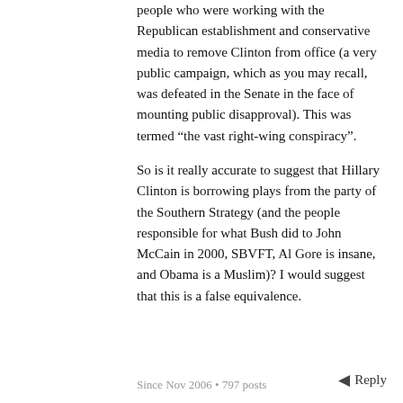people who were working with the Republican establishment and conservative media to remove Clinton from office (a very public campaign, which as you may recall, was defeated in the Senate in the face of mounting public disapproval). This was termed “the vast right-wing conspiracy”.
So is it really accurate to suggest that Hillary Clinton is borrowing plays from the party of the Southern Strategy (and the people responsible for what Bush did to John McCain in 2000, SBVFT, Al Gore is insane, and Obama is a Muslim)? I would suggest that this is a false equivalence.
Since Nov 2006 • 797 posts
Reply
Neil Morrison, 14 years ago ∞
__As I said on another thread, people respond to Obama because they believe he can change the game, while Clinton is the status quo.__